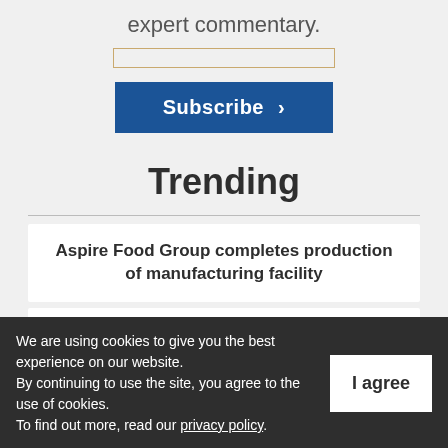expert commentary.
[Figure (screenshot): Subscribe button with right chevron, dark blue background, white bold text]
Trending
Aspire Food Group completes production of manufacturing facility
Stellantis says they are laying off employees at
We are using cookies to give you the best experience on our website. By continuing to use the site, you agree to the use of cookies. To find out more, read our privacy policy.